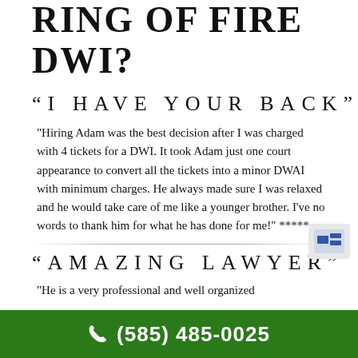RING OF FIRE DWI?
“I HAVE YOUR BACK”
"Hiring Adam was the best decision after I was charged with 4 tickets for a DWI. It took Adam just one court appearance to convert all the tickets into a minor DWAI with minimum charges. He always made sure I was relaxed and he would take care of me like a younger brother. I've no words to thank him for what he has done for me!" *****
“AMAZING LAWYER”
"He is a very professional and well organized
☎ (585) 485-0025